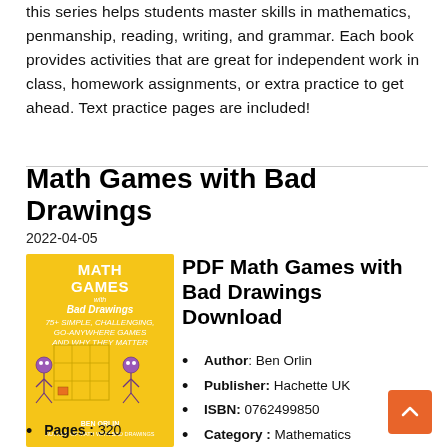this series helps students master skills in mathematics, penmanship, reading, writing, and grammar. Each book provides activities that are great for independent work in class, homework assignments, or extra practice to get ahead. Text practice pages are included!
Math Games with Bad Drawings
2022-04-05
[Figure (photo): Book cover of 'Math Games with Bad Drawings' by Ben Orlin, yellow background with stick figure illustrations]
PDF Math Games with Bad Drawings Download
Author: Ben Orlin
Publisher: Hachette UK
ISBN: 0762499850
Category : Mathematics
Languages : en
Pages : 320